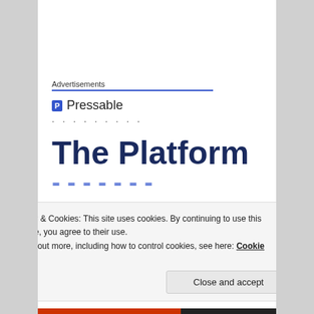Advertisements
[Figure (logo): Pressable logo with blue square icon containing letter P and text 'Pressable']
The Platform
Third, the building will probably have very few windows, and in all probability, the whole building will be surrounded by; a formidable fence, with multiple cameras on poles, and a manned security gate.
Privacy & Cookies: This site uses cookies. By continuing to use this website, you agree to their use.
To find out more, including how to control cookies, see here: Cookie Policy